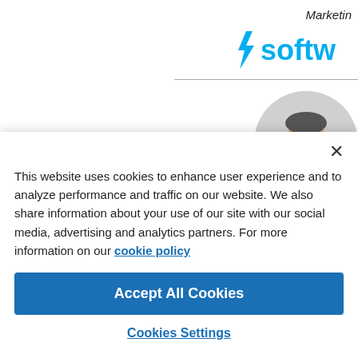Marketing
[Figure (logo): Softw... logo with lightning bolt icon in cyan/blue color, partially cropped]
[Figure (photo): Circular cropped headshot of Rob Mayr, a man in a dark blazer and blue shirt, against a light background]
Rob Mayr
Global Solutions
This website uses cookies to enhance user experience and to analyze performance and traffic on our website. We also share information about your use of our site with our social media, advertising and analytics partners. For more information on our cookie policy
Accept All Cookies
Cookies Settings